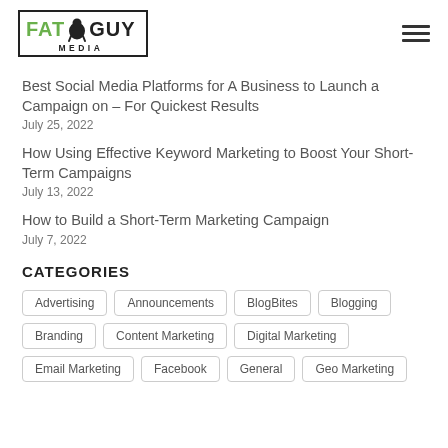[Figure (logo): Fat Guy Media logo with stylized fat character icon between FAT and GUY text, in a bordered box with MEDIA below]
Best Social Media Platforms for A Business to Launch a Campaign on – For Quickest Results
July 25, 2022
How Using Effective Keyword Marketing to Boost Your Short-Term Campaigns
July 13, 2022
How to Build a Short-Term Marketing Campaign
July 7, 2022
CATEGORIES
Advertising
Announcements
BlogBites
Blogging
Branding
Content Marketing
Digital Marketing
Email Marketing
Facebook
General
Geo Marketing